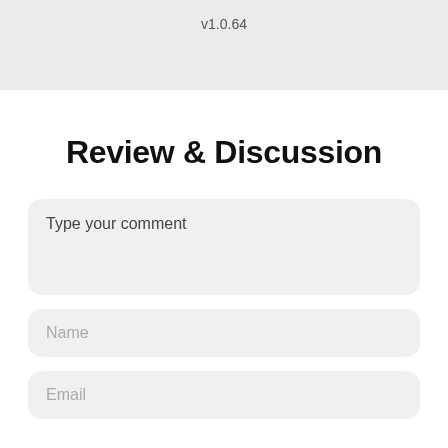v1.0.64
Review & Discussion
Type your comment
Name
Email